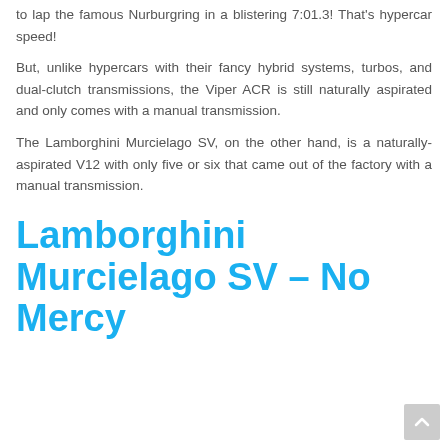to lap the famous Nurburgring in a blistering 7:01.3! That's hypercar speed!
But, unlike hypercars with their fancy hybrid systems, turbos, and dual-clutch transmissions, the Viper ACR is still naturally aspirated and only comes with a manual transmission.
The Lamborghini Murcielago SV, on the other hand, is a naturally-aspirated V12 with only five or six that came out of the factory with a manual transmission.
Lamborghini Murcielago SV – No Mercy